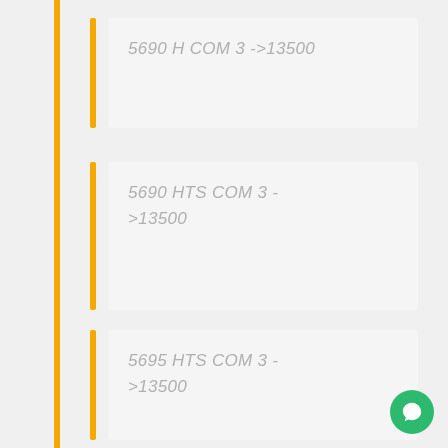5690 H COM 3 ->13500
5690 HTS COM 3 ->13500
5695 HTS COM 3 ->13500